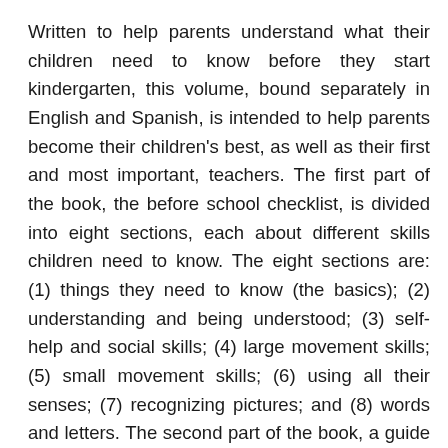Written to help parents understand what their children need to know before they start kindergarten, this volume, bound separately in English and Spanish, is intended to help parents become their children's best, as well as their first and most important, teachers. The first part of the book, the before school checklist, is divided into eight sections, each about different skills children need to know. The eight sections are: (1) things they need to know (the basics); (2) understanding and being understood; (3) self-help and social skills; (4) large movement skills; (5) small movement skills; (6) using all their senses; (7) recognizing pictures; and (8) words and letters. The second part of the book, a guide for parents, shows parents how to help their children learn the things they need to know. This part is also divided into eight sections that show simple things parents can do at